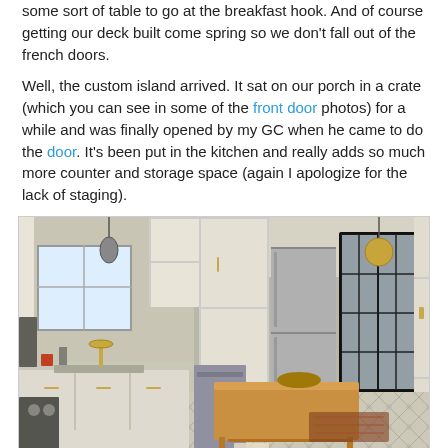some sort of table to go at the breakfast hook.  And of course getting our deck built come spring so we don't fall out of the french doors.

Well, the custom island arrived.  It sat on our porch in a crate (which you can see in some of the front door photos) for a while and was finally opened by my GC when he came to do the door.  It's been put in the kitchen and really adds so much more counter and storage space (again I apologize for the lack of staging).
[Figure (photo): Interior photo of a renovated kitchen featuring white cabinets, gold hardware, a wooden kitchen island, patterned tile floor, stainless steel appliances, a gold faucet at the sink, a window, and black-framed French doors leading outside with a gold pendant light.]